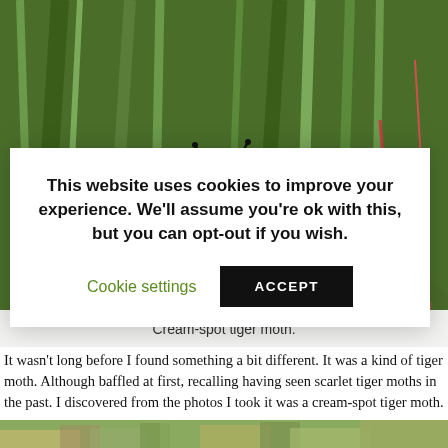[Figure (photo): Close-up photograph of a cream-spot tiger moth resting on grass. The moth has dark brown/black wings with white irregular spots, a black body with a red collar near the head, and prominent antennae.]
Cream-spot tiger moth.
It wasn't long before I found something a bit different. It was a kind of tiger moth. Although baffled at first, recalling having seen scarlet tiger moths in the past. I discovered from the photos I took it was a cream-spot tiger moth.
[Figure (photo): Partial photo at bottom of page showing green vegetation and rocky/sandy ground.]
This website uses cookies to improve your experience. We'll assume you're ok with this, but you can opt-out if you wish.